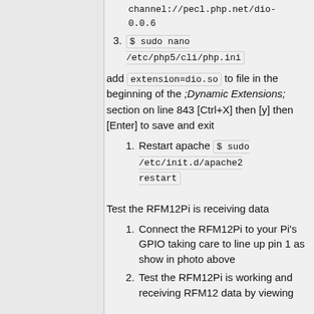channel://pecl.php.net/dio-0.0.6
3. $ sudo nano /etc/php5/cli/php.ini
add extension=dio.so to file in the beginning of the ;Dynamic Extensions; section on line 843 [Ctrl+X] then [y] then [Enter] to save and exit
1. Restart apache $ sudo /etc/init.d/apache2 restart
Test the RFM12Pi is receiving data
1. Connect the RFM12Pi to your Pi's GPIO taking care to line up pin 1 as show in photo above
2. Test the RFM12Pi is working and receiving RFM12 data by viewing